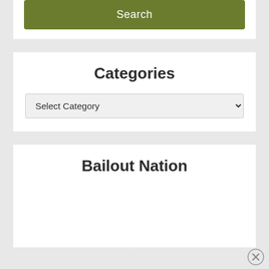[Figure (screenshot): Green Search button on white background panel]
Categories
[Figure (screenshot): Select Category dropdown box]
Bailout Nation
[Figure (other): Loading spinner animation in white panel]
[Figure (other): Close (X) button circle at bottom right]